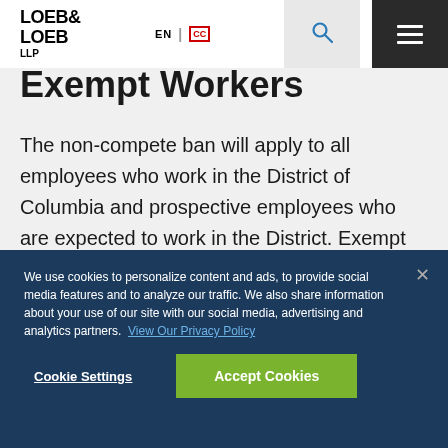LOEB & LOEB LLP | EN | CC
Exempt Workers
The non-compete ban will apply to all employees who work in the District of Columbia and prospective employees who are expected to work in the District. Exempt from the law are unpaid volunteers, lay members of a religious organization who are elected or appointed to office within the...
We use cookies to personalize content and ads, to provide social media features and to analyze our traffic. We also share information about your use of our site with our social media, advertising and analytics partners. View Our Privacy Policy
Cookie Settings | Accept Cookies